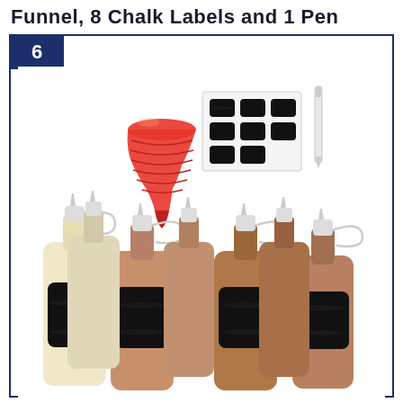Funnel, 8 Chalk Labels and 1 Pen
[Figure (photo): Product photo showing squeeze bottles filled with various colored liquids (cream, tan, brown shades), each bottle has a black chalkboard label on it. In the upper area: a red collapsible silicone funnel, a sheet of 8 black chalk labels, and a white pen/marker. Number badge '6' in dark navy blue in upper left corner.]